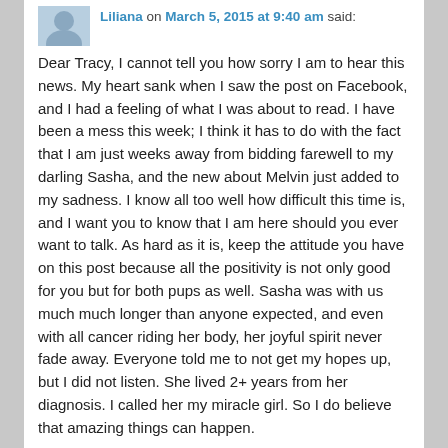Liliana on March 5, 2015 at 9:40 am said:
Dear Tracy, I cannot tell you how sorry I am to hear this news. My heart sank when I saw the post on Facebook, and I had a feeling of what I was about to read. I have been a mess this week; I think it has to do with the fact that I am just weeks away from bidding farewell to my darling Sasha, and the new about Melvin just added to my sadness. I know all too well how difficult this time is, and I want you to know that I am here should you ever want to talk. As hard as it is, keep the attitude you have on this post because all the positivity is not only good for you but for both pups as well. Sasha was with us much much longer than anyone expected, and even with all cancer riding her body, her joyful spirit never fade away. Everyone told me to not get my hopes up, but I did not listen. She lived 2+ years from her diagnosis. I called her my miracle girl. So I do believe that amazing things can happen.